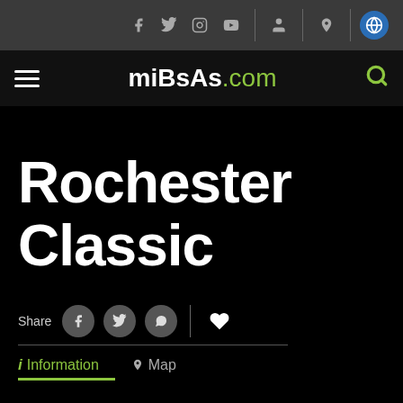[Figure (screenshot): Top social media icon bar with Facebook, Twitter, Instagram, YouTube icons, plus user profile, location pin, and globe icons on dark gray background]
miBsAs.com
Rochester Classic
Share
Information  Map